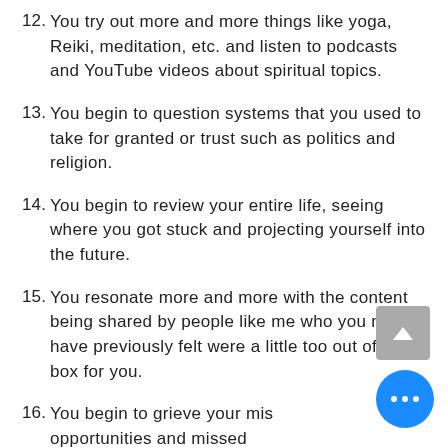12.You try out more and more things like yoga, Reiki, meditation, etc. and listen to podcasts and YouTube videos about spiritual topics.
13.You begin to question systems that you used to take for granted or trust such as politics and religion.
14.You begin to review your entire life, seeing where you got stuck and projecting yourself into the future.
15.You resonate more and more with the content being shared by people like me who you might have previously felt were a little too out of the box for you.
16.You begin to grieve your missed opportunities and missed...